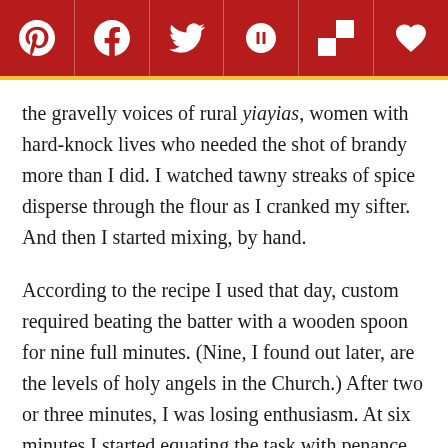[Social sharing bar: Pinterest, Facebook, Twitter, Yummly, Flipboard, Favorites]
the gravelly voices of rural yiayias, women with hard-knock lives who needed the shot of brandy more than I did. I watched tawny streaks of spice disperse through the flour as I cranked my sifter. And then I started mixing, by hand.
According to the recipe I used that day, custom required beating the batter with a wooden spoon for nine full minutes. (Nine, I found out later, are the levels of holy angels in the Church.) After two or three minutes, I was losing enthusiasm. At six minutes I started equating the task with penance. By the nine-minute mark, I figured I'd atoned for a lifetime of sin but found myself in hell anyway. My arm was on fire.